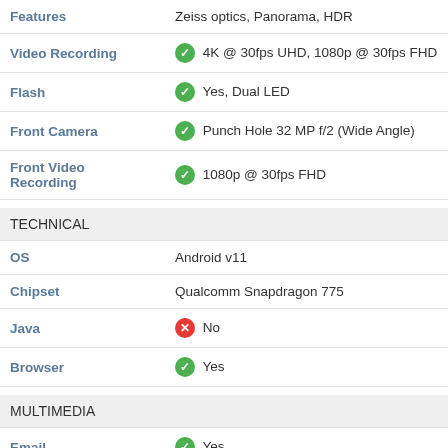| Feature | Value |
| --- | --- |
| Features | Zeiss optics, Panorama, HDR |
| Video Recording | ✔ 4K @ 30fps UHD, 1080p @ 30fps FHD |
| Flash | ✔ Yes, Dual LED |
| Front Camera | ✔ Punch Hole 32 MP f/2 (Wide Angle) |
| Front Video Recording | ✔ 1080p @ 30fps FHD |
| TECHNICAL |  |
| OS | Android v11 |
| Chipset | Qualcomm Snapdragon 775 |
| Java | ✘ No |
| Browser | ✔ Yes |
| MULTIMEDIA |  |
| Email | ✔ Yes |
| Music | ✔ Yes |
| Video | ✔ Yes |
| FM Radio | ✔ Yes |
| Document | ✔ Yes |